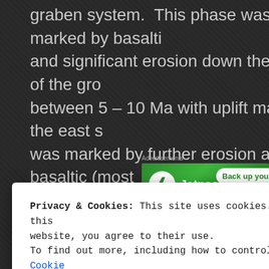graben system. This phase was marked by basaltic and significant erosion down the walls of the gro... between 5 – 10 Ma with uplift mainly on the east s... was marked by further erosion and basaltic (most...
[Figure (screenshot): Jetpack advertisement banner — green background with Jetpack logo (white circle with lightning bolt), 'Jetpack' text in white, and 'Back up your s' text in green on white button.]
Privacy & Cookies: This site uses cookies. By continuing to use this website, you agree to their use. To find out more, including how to control cookies, see here: Cookie Policy